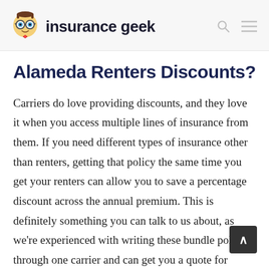insurance geek
Alameda Renters Discounts?
Carriers do love providing discounts, and they love it when you access multiple lines of insurance from them. If you need different types of insurance other than renters, getting that policy the same time you get your renters can allow you to save a percentage discount across the annual premium. This is definitely something you can talk to us about, as we're experienced with writing these bundle policies through one carrier and can get you a quote for